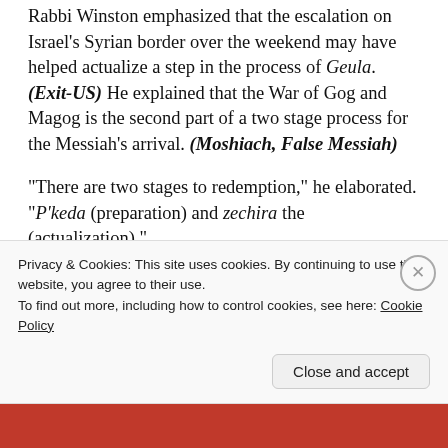Rabbi Winston emphasized that the escalation on Israel's Syrian border over the weekend may have helped actualize a step in the process of Geula. (Exit-US) He explained that the War of Gog and Magog is the second part of a two stage process for the Messiah's arrival. (Moshiach, False Messiah)
“There are two stages to redemption,” he elaborated. “P’keda (preparation) and zechira the (actualization).”
“I… [partial, cut off]
Privacy & Cookies: This site uses cookies. By continuing to use this website, you agree to their use.
To find out more, including how to control cookies, see here: Cookie Policy
Close and accept